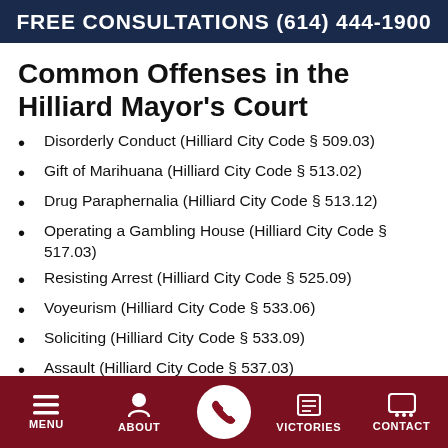FREE CONSULTATIONS (614) 444-1900
Common Offenses in the Hilliard Mayor's Court
Disorderly Conduct (Hilliard City Code § 509.03)
Gift of Marihuana (Hilliard City Code § 513.02)
Drug Paraphernalia (Hilliard City Code § 513.12)
Operating a Gambling House (Hilliard City Code § 517.03)
Resisting Arrest (Hilliard City Code § 525.09)
Voyeurism (Hilliard City Code § 533.06)
Soliciting (Hilliard City Code § 533.09)
Assault (Hilliard City Code § 537.03)
Petty Theft (Hilliard City Code § 545.05)
Carrying Concealed Weapons (Hilliard City Code § …
MENU  ABOUT  [CALL]  VICTORIES  CONTACT